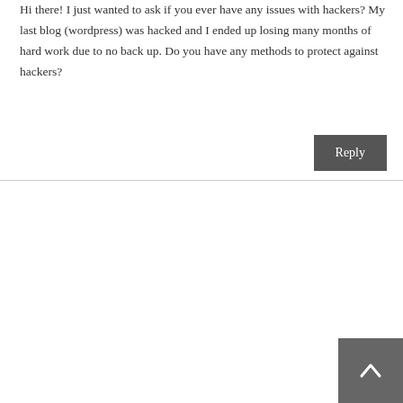Hi there! I just wanted to ask if you ever have any issues with hackers? My last blog (wordpress) was hacked and I ended up losing many months of hard work due to no back up. Do you have any methods to protect against hackers?
Reply
Leeanne Blomquist says:
October 20, 2018 at 10:56 am
Heyy would you mind sharing which blog platform you'reworking with? I'm looking to start my own blog in the near future but I'm having a difficult time deciding between BlogEngine/Wordpress/B2evolution andDrupal. The reason I askk is because your design seems differentthen most blogs and I'm looking for something completely u S My apologies for being off-topic but I had tto ask!Most